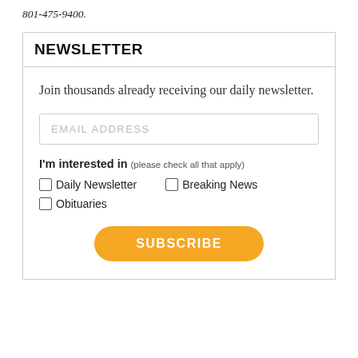801-475-9400.
NEWSLETTER
Join thousands already receiving our daily newsletter.
EMAIL ADDRESS
I'm interested in (please check all that apply)
Daily Newsletter
Breaking News
Obituaries
SUBSCRIBE